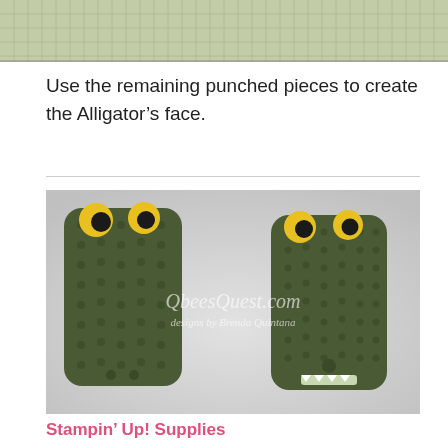[Figure (photo): Top partial photo showing alligator craft pieces on a grid cutting mat background]
Use the remaining punched pieces to create the Alligator’s face.
[Figure (photo): Two green alligator face craft projects made from punched cardstock with yellow and black eyes, shown side by side on a light gray surface. Watermark reads QbeesQuest.com designs by Brenda Quintana]
Stampin’ Up! Supplies